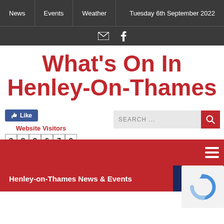News | Events | Weather | Tuesday 6th September 2022
What's On In Henley-On-Thames
[Figure (screenshot): Facebook Like button (blue) and Website Visitors counter showing 389679]
[Figure (screenshot): Search bar with placeholder text SEARCH ... and red magnifying glass button]
[Figure (screenshot): Red navigation banner with hamburger menu icon]
Henley-on-Thames News & Events
[Figure (screenshot): reCAPTCHA badge (blue/grey swirling arrows logo)]